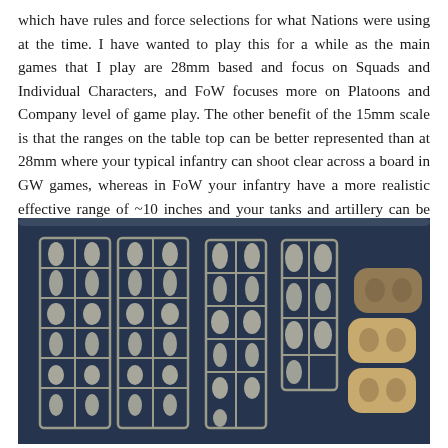which have rules and force selections for what Nations were using at the time. I have wanted to play this for a while as the main games that I play are 28mm based and focus on Squads and Individual Characters, and FoW focuses more on Platoons and Company level of game play. The other benefit of the 15mm scale is that the ranges on the table top can be better represented than at 28mm where your typical infantry can shoot clear across a board in GW games, whereas in FoW your infantry have a more realistic effective range of ~10 inches and your tanks and artillery can be used at a relative range that makes sense at the scale, allowing for the real use of combined arms.
[Figure (photo): Photo of plastic miniature sprues laid out on a dark blue surface. Three sprues contain grey plastic military figurines in various poses, and to the right side are tan/beige coloured oval base holders.]